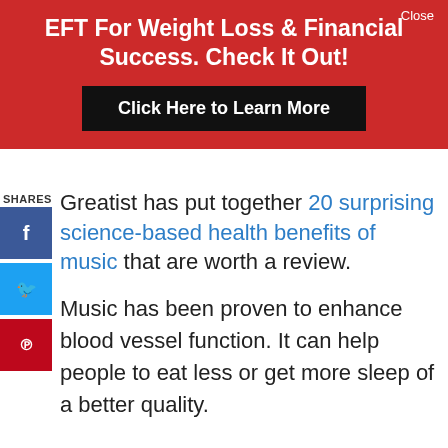EFT For Weight Loss & Financial Success. Check It Out!
Click Here to Learn More
SHARES
Greatist has put together 20 surprising science-based health benefits of music that are worth a review.
Music has been proven to enhance blood vessel function. It can help people to eat less or get more sleep of a better quality.